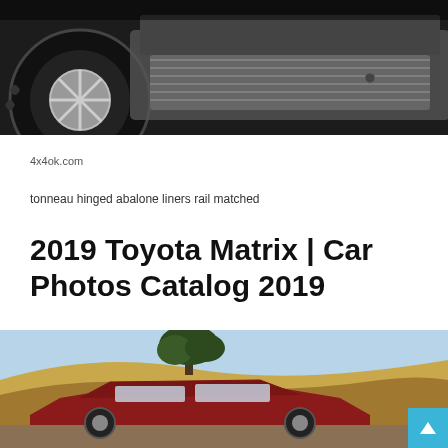[Figure (photo): Close-up photo of a truck/4x4 vehicle showing wheel, tire, and undercarriage in black and white tones]
4x4ok.com
tonneau hinged abalone liners rail matched
2019 Toyota Matrix | Car Photos Catalog 2019
[Figure (photo): Photo of a red/blue Toyota Matrix car on a hillside road with golden dry grass and trees in the background under a blue sky]